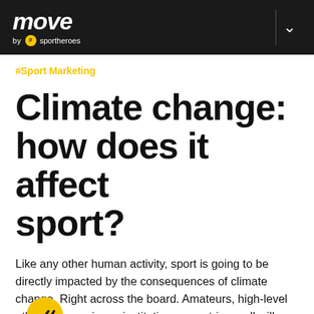move by sportheroes
#Sport Marketing
Climate change: how does it affect sport?
Like any other human activity, sport is going to be directly impacted by the consequences of climate change. Right across the board. Amateurs, high-level athletes, organisers, institutions, countries – all will have to adapt.